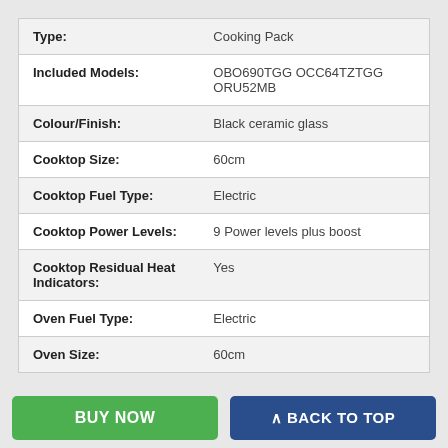| Attribute | Value |
| --- | --- |
| Type: | Cooking Pack |
| Included Models: | OBO690TGG OCC64TZTGG ORU52MB |
| Colour/Finish: | Black ceramic glass |
| Cooktop Size: | 60cm |
| Cooktop Fuel Type: | Electric |
| Cooktop Power Levels: | 9 Power levels plus boost |
| Cooktop Residual Heat Indicators: | Yes |
| Oven Fuel Type: | Electric |
| Oven Size: | 60cm |